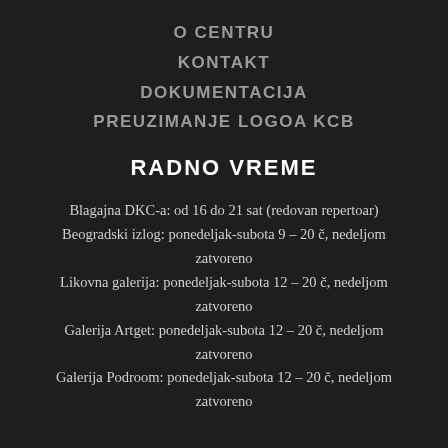O CENTRU
KONTAKT
DOKUMENTACIJA
PREUZIMANJE LOGOA KCB
RADNO VREME
Blagajna DKC-a: od 16 do 21 sat (redovan repertoar)
Beogradski izlog: ponedeljak-subota 9 – 20 č, nedeljom zatvoreno
Likovna galerija: ponedeljak-subota 12 – 20 č, nedeljom zatvoreno
Galerija Artget: ponedeljak-subota 12 – 20 č, nedeljom zatvoreno
Galerija Podroom: ponedeljak-subota 12 – 20 č, nedeljom zatvoreno